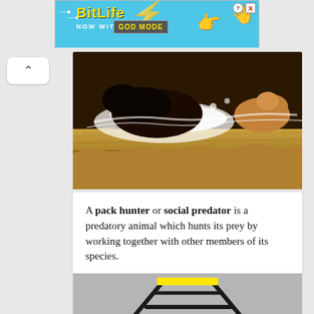[Figure (screenshot): BitLife advertisement banner with 'NOW WITH GOD MODE' text on cyan background with cartoon hands]
[Figure (photo): Animals (dark colored) splashing through water in grassy field, action wildlife photo]
A pack hunter or social predator is a predatory animal which hunts its prey by working together with other members of its species.
[Figure (illustration): Railroad tracks perspective illustration with yellow highlighted horizontal bar near the top]